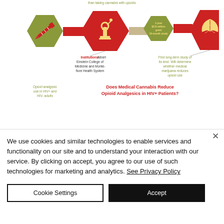than taking cannabis with opioids
[Figure (infographic): Infographic showing hexagonal icons representing opioid analgesic use in HIV+ and HIV- adults, a microscope study icon, a center hex with '1-year $2.8 million grant 16-month study', and a cannabis leaf icon. Connected with arrows. Title: Does Medical Cannabis Reduce Opioid Analgesics in HIV+ Patients? Institutions: Albert Einstein College of Medicine and Montefiore Health System. First long-term study of its kind. Will determine whether medical marijuana reduces opioid use.]
We use cookies and similar technologies to enable services and functionality on our site and to understand your interaction with our service. By clicking on accept, you agree to our use of such technologies for marketing and analytics. See Privacy Policy
Cookie Settings
Accept